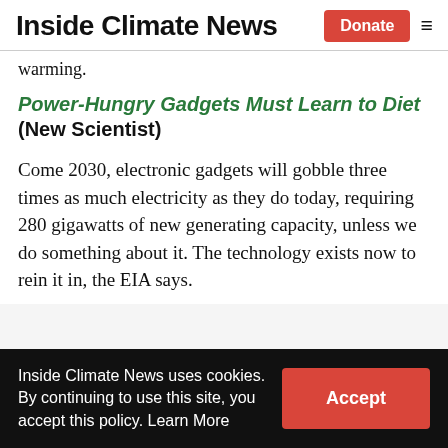Inside Climate News — Donate (button) — hamburger menu
warming.
Power-Hungry Gadgets Must Learn to Diet (New Scientist)
Come 2030, electronic gadgets will gobble three times as much electricity as they do today, requiring 280 gigawatts of new generating capacity, unless we do something about it. The technology exists now to rein it in, the EIA says.
Inside Climate News uses cookies. By continuing to use this site, you accept this policy. Learn More